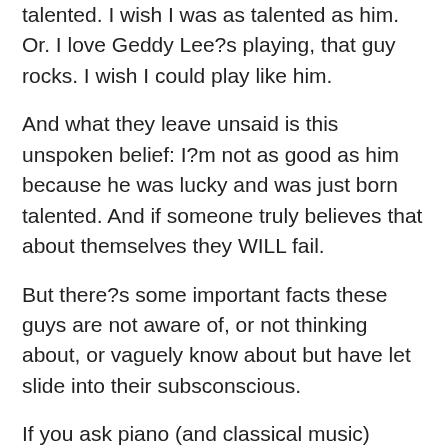talented. I wish I was as talented as him. Or. I love Geddy Lee?s playing, that guy rocks. I wish I could play like him.
And what they leave unsaid is this unspoken belief: I?m not as good as him because he was lucky and was just born talented. And if someone truly believes that about themselves they WILL fail.
But there?s some important facts these guys are not aware of, or not thinking about, or vaguely know about but have let slide into their subsconscious.
If you ask piano (and classical music) students which are Mozart?s best (and most played) works you?ll find amongst the answers The Piano Concerto No 9.
This was probably the first work that Mozart did that?s still regarded as a Masterpiece ? which was composed when Mozart was 21.